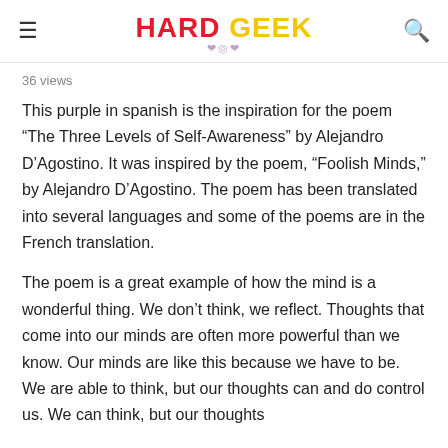HARD GEEK
36 views
This purple in spanish is the inspiration for the poem “The Three Levels of Self-Awareness” by Alejandro D’Agostino. It was inspired by the poem, “Foolish Minds,” by Alejandro D’Agostino. The poem has been translated into several languages and some of the poems are in the French translation.
The poem is a great example of how the mind is a wonderful thing. We don’t think, we reflect. Thoughts that come into our minds are often more powerful than we know. Our minds are like this because we have to be. We are able to think, but our thoughts can and do control us. We can think, but our thoughts can and do control us.